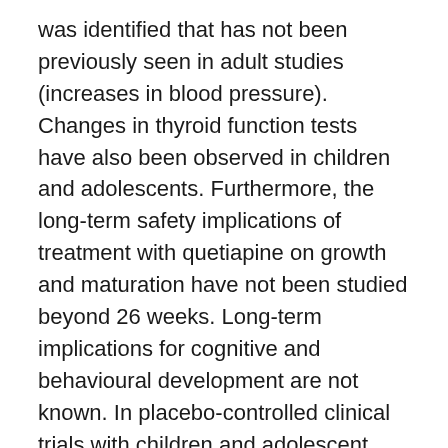was identified that has not been previously seen in adult studies (increases in blood pressure). Changes in thyroid function tests have also been observed in children and adolescents. Furthermore, the long-term safety implications of treatment with quetiapine on growth and maturation have not been studied beyond 26 weeks. Long-term implications for cognitive and behavioural development are not known. In placebo-controlled clinical trials with children and adolescent patients, quetiapine was associated with an increased incidence of extrapyramidal symptoms (EPS) compared to placebo in patients treated for schizophrenia, bipolar mania and bipolar depression. Suicide/suicidal thoughts or clinical worsening